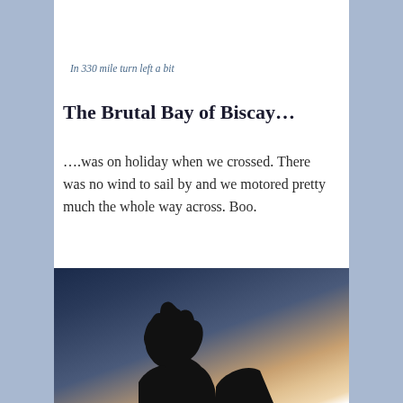[Figure (photo): Partial top of a photo showing what appears to be a dark surface or chalkboard, cropped at top of page]
In 330 mile turn left a bit
The Brutal Bay of Biscay…
….was on holiday when we crossed. There was no wind to sail by and we motored pretty much the whole way across. Boo.
[Figure (photo): Silhouette of a person wearing a beanie hat and jacket against a twilight sky with gradient from dark blue at top to warm orange/peach at the horizon]